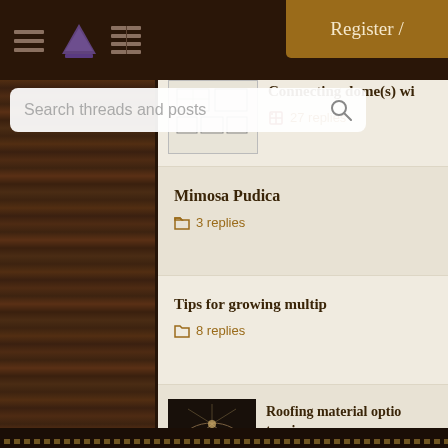[Figure (screenshot): Mobile forum app interface showing dark wood-textured background with navigation header, search bar, and forum thread list]
Register /
Search threads and posts
Connecting dome(s) wi... — 27 replies
Mimosa Pudica — 3 replies
Tips for growing multip... — 8 replies
Roofing material optio... tropics — 3 replies